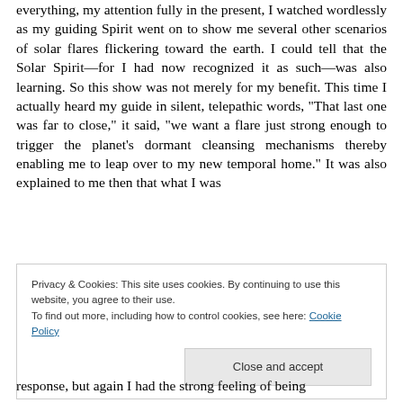everything, my attention fully in the present, I watched wordlessly as my guiding Spirit went on to show me several other scenarios of solar flares flickering toward the earth. I could tell that the Solar Spirit—for I had now recognized it as such—was also learning. So this show was not merely for my benefit. This time I actually heard my guide in silent, telepathic words, “That last one was far to close,” it said, “we want a flare just strong enough to trigger the planet’s dormant cleansing mechanisms thereby enabling me to leap over to my new temporal home.” It was also explained to me then that what I was
Privacy & Cookies: This site uses cookies. By continuing to use this website, you agree to their use.
To find out more, including how to control cookies, see here: Cookie Policy
response, but again I had the strong feeling of being